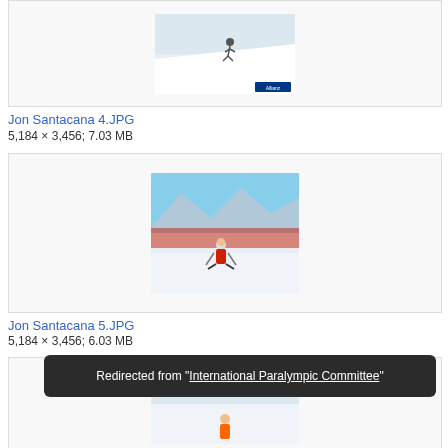[Figure (photo): Skier on snowy slope with Allianz sponsor banner visible at bottom right]
Jon Santacana 4.JPG
5,184 × 3,456; 7.03 MB
[Figure (photo): Paralympic skier in red suit skiing on a snowy course with fencing and spectators in background]
Jon Santacana 5.JPG
5,184 × 3,456; 6.03 MB
[Figure (photo): Bottom portion of another skiing image, partially visible]
Redirected from "International Paralympic Committee"